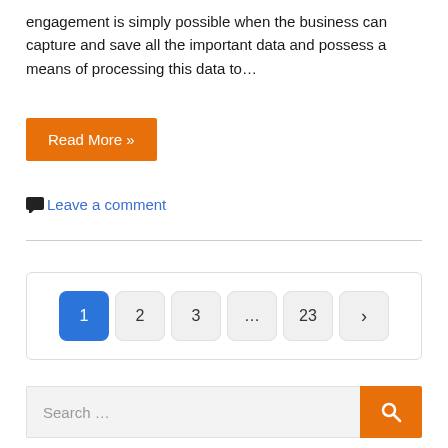engagement is simply possible when the business can capture and save all the important data and possess a means of processing this data to…
Read More »
Leave a comment
1  2  3  ...  23  >
Search …